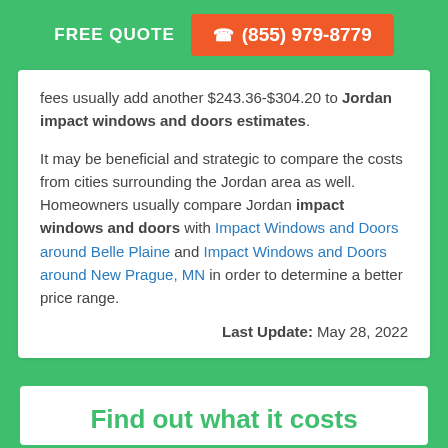FREE QUOTE  ☎ (855) 979-8779
fees usually add another $243.36-$304.20 to Jordan impact windows and doors estimates.
It may be beneficial and strategic to compare the costs from cities surrounding the Jordan area as well. Homeowners usually compare Jordan impact windows and doors with Impact Windows and Doors around Belle Plaine and Impact Windows and Doors around New Prague, MN in order to determine a better price range.
Last Update: May 28, 2022
Find out what it costs